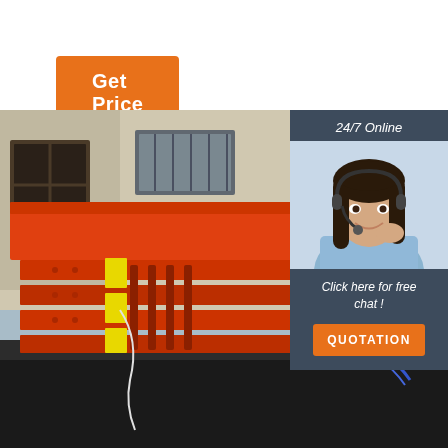Get Price
[Figure (photo): Red industrial steel formwork panels with yellow reflective strips, stacked on a flatbed truck in a yard, with a building in the background.]
24/7 Online
[Figure (photo): Customer service agent woman wearing a headset, smiling, in a light blue shirt.]
Click here for free chat !
QUOTATION